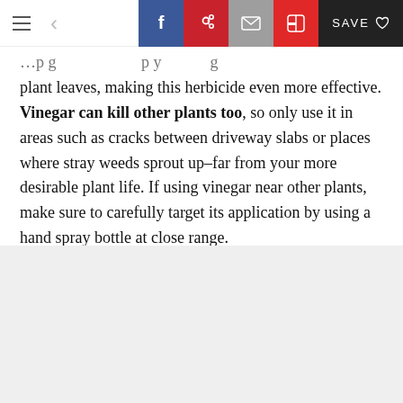Navigation bar with menu, back button, Facebook, Pinterest, Email, Flipboard share buttons and SAVE button
…p g … p y g plant leaves, making this herbicide even more effective. Vinegar can kill other plants too, so only use it in areas such as cracks between driveway slabs or places where stray weeds sprout up–far from your more desirable plant life. If using vinegar near other plants, make sure to carefully target its application by using a hand spray bottle at close range.
Advertisement